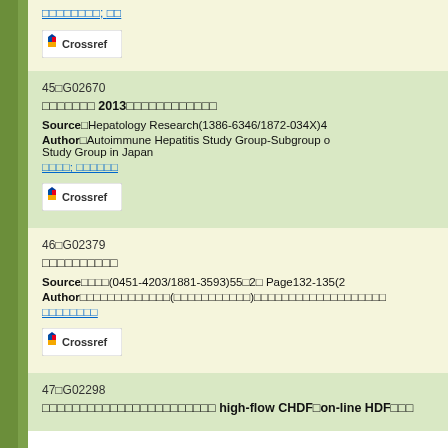[Japanese text]; [link]
[Figure (logo): Crossref button/logo]
45□G02670
[Japanese text] 2013[Japanese text]
Source□Hepatology Research(1386-6346/1872-034X)4...
Author□Autoimmune Hepatitis Study Group-Subgroup of... Study Group in Japan
[Japanese text]; [Japanese text]
[Figure (logo): Crossref button/logo]
46□G02379
[Japanese text]
Source□[Japanese](0451-4203/1881-3593)55□2□ Page132-135(2...
Author□[Japanese]([Japanese])[Japanese]
[Japanese text]
[Figure (logo): Crossref button/logo]
47□G02298
[Japanese text] high-flow CHDF□on-line HDF□...